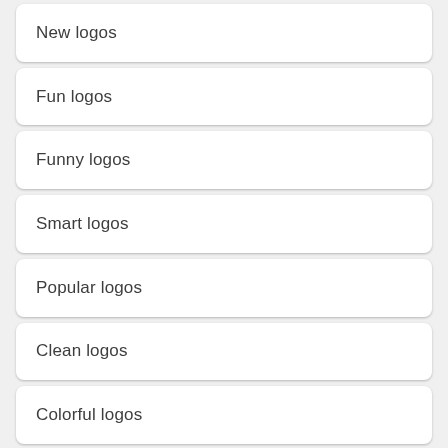New logos
Fun logos
Funny logos
Smart logos
Popular logos
Clean logos
Colorful logos